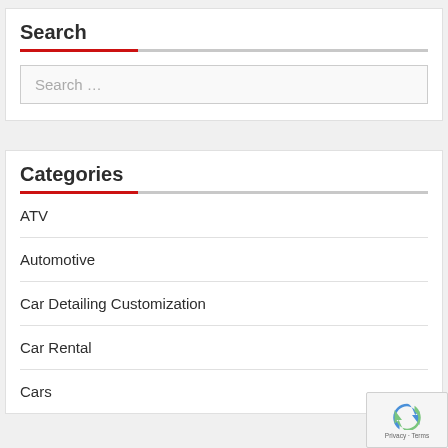Search
Search ...
Categories
ATV
Automotive
Car Detailing Customization
Car Rental
Cars